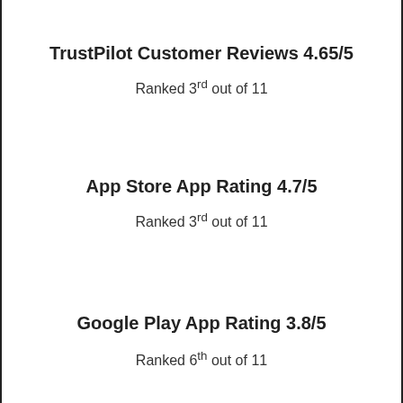TrustPilot Customer Reviews 4.65/5
Ranked 3rd out of 11
App Store App Rating 4.7/5
Ranked 3rd out of 11
Google Play App Rating 3.8/5
Ranked 6th out of 11